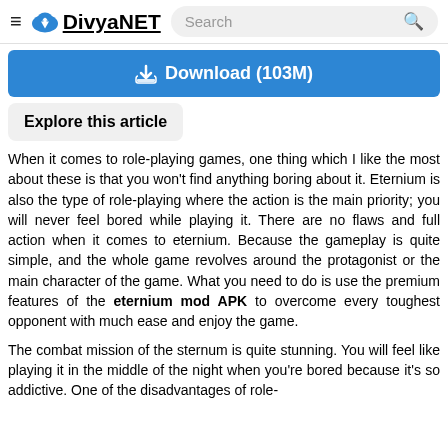≡ DivyaNET  Search 🔍
⬇ Download (103M)
Explore this article
When it comes to role-playing games, one thing which I like the most about these is that you won't find anything boring about it. Eternium is also the type of role-playing where the action is the main priority; you will never feel bored while playing it. There are no flaws and full action when it comes to eternium. Because the gameplay is quite simple, and the whole game revolves around the protagonist or the main character of the game. What you need to do is use the premium features of the eternium mod APK to overcome every toughest opponent with much ease and enjoy the game.
The combat mission of the sternum is quite stunning. You will feel like playing it in the middle of the night when you're bored because it's so addictive. One of the disadvantages of role-